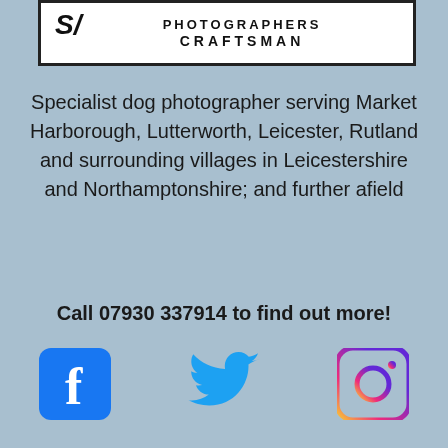[Figure (logo): Photographers Craftsman logo with slash graphic in white box with black border]
Specialist dog photographer serving Market Harborough, Lutterworth, Leicester, Rutland and surrounding villages in Leicestershire and Northamptonshire; and further afield
Call 07930 337914 to find out more!
[Figure (illustration): Social media icons: Facebook, Twitter, Instagram]